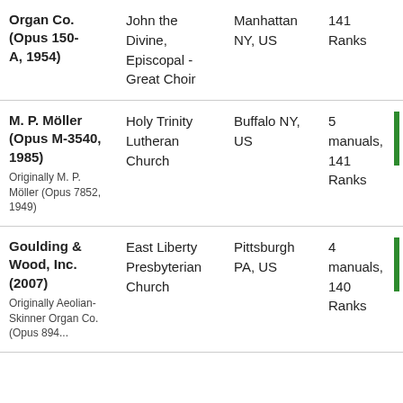| Builder | Church / Institution | Location | Specification |  |
| --- | --- | --- | --- | --- |
| Organ Co. (Opus 150-A, 1954) | John the Divine, Episcopal - Great Choir | Manhattan NY, US | 141 Ranks |  |
| M. P. Möller (Opus M-3540, 1985)
Originally M. P. Möller (Opus 7852, 1949) | Holy Trinity Lutheran Church | Buffalo NY, US | 5 manuals, 141 Ranks |  |
| Goulding & Wood, Inc. (2007)
Originally Aeolian-Skinner Organ Co. (Opus 894... | East Liberty Presbyterian Church | Pittsburgh PA, US | 4 manuals, 140 Ranks |  |